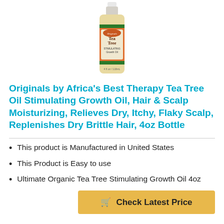[Figure (photo): Product photo of a bottle of Originals by Africa's Best Therapy Tea Tree Oil Stimulating Growth Oil, 4oz bottle with orange and green label]
Originals by Africa's Best Therapy Tea Tree Oil Stimulating Growth Oil, Hair & Scalp Moisturizing, Relieves Dry, Itchy, Flaky Scalp, Replenishes Dry Brittle Hair, 4oz Bottle
This product is Manufactured in United States
This Product is Easy to use
Ultimate Organic Tea Tree Stimulating Growth Oil 4oz